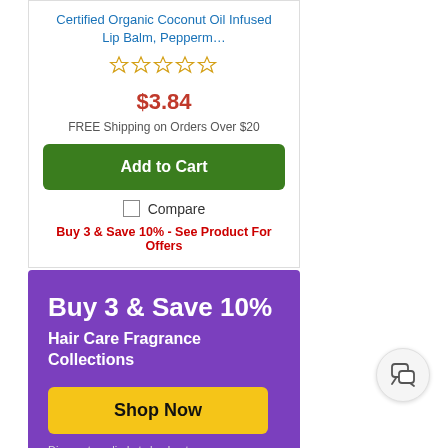Certified Organic Coconut Oil Infused Lip Balm, Pepperm…
[Figure (other): Five empty star rating icons (no stars filled)]
$3.84
FREE Shipping on Orders Over $20
Add to Cart
Compare
Buy 3 & Save 10% - See Product For Offers
[Figure (infographic): Purple promotional banner with text 'Buy 3 & Save 10%', subtitle 'Hair Care Fragrance Collections', yellow 'Shop Now' button, and 'Discount applied at checkout' note]
[Figure (other): Chat bubble icon in a circular white button]